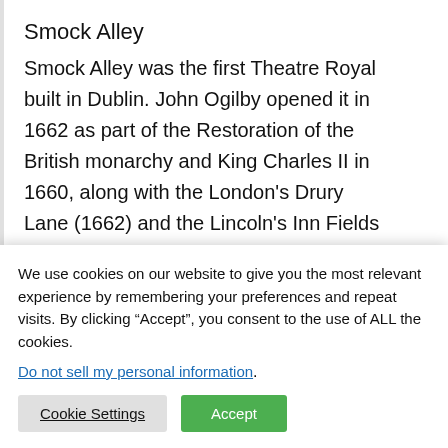Smock Alley
Smock Alley was the first Theatre Royal built in Dublin. John Ogilby opened it in 1662 as part of the Restoration of the British monarchy and King Charles II in 1660, along with the London’s Drury Lane (1662) and the Lincoln’s Inn Fields (1661).
Which is the best movie
We use cookies on our website to give you the most relevant experience by remembering your preferences and repeat visits. By clicking “Accept”, you consent to the use of ALL the cookies.
Do not sell my personal information.